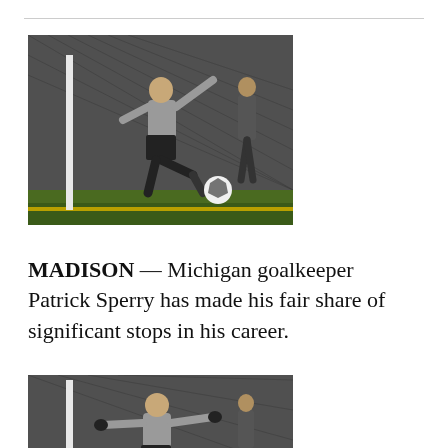[Figure (photo): Michigan goalkeeper Patrick Sperry in action on the soccer field, kicking the ball near the goal post, wearing gray jersey and black shorts, with another player visible in background]
MADISON — Michigan goalkeeper Patrick Sperry has made his fair share of significant stops in his career.
[Figure (photo): Second photo of Michigan goalkeeper Patrick Sperry near the goal post with arms extended, similar setting to the first photo]